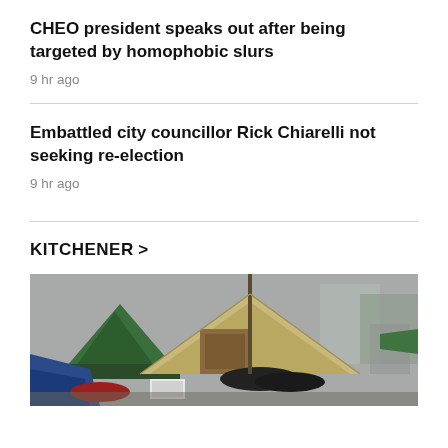CHEO president speaks out after being targeted by homophobic slurs
9 hr ago
Embattled city councillor Rick Chiarelli not seeking re-election
9 hr ago
KITCHENER >
[Figure (photo): Outdoor encampment scene with tents, tarps, and assorted items including blue and red tarps, a green Coleman tent, wooden structures, and shopping carts in the background.]